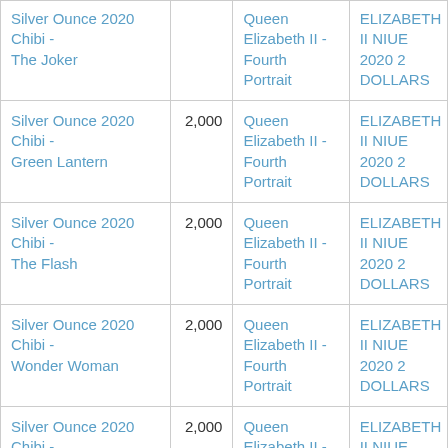| Silver Ounce 2020 Chibi - The Joker |  | Queen Elizabeth II - Fourth Portrait | ELIZABETH II NIUE 2020 2 DOLLARS |
| Silver Ounce 2020 Chibi - Green Lantern | 2,000 | Queen Elizabeth II - Fourth Portrait | ELIZABETH II NIUE 2020 2 DOLLARS |
| Silver Ounce 2020 Chibi - The Flash | 2,000 | Queen Elizabeth II - Fourth Portrait | ELIZABETH II NIUE 2020 2 DOLLARS |
| Silver Ounce 2020 Chibi - Wonder Woman | 2,000 | Queen Elizabeth II - Fourth Portrait | ELIZABETH II NIUE 2020 2 DOLLARS |
| Silver Ounce 2020 Chibi - Superman | 2,000 | Queen Elizabeth II - Fourth Portrait | ELIZABETH II NIUE 2020 2 DOLLARS |